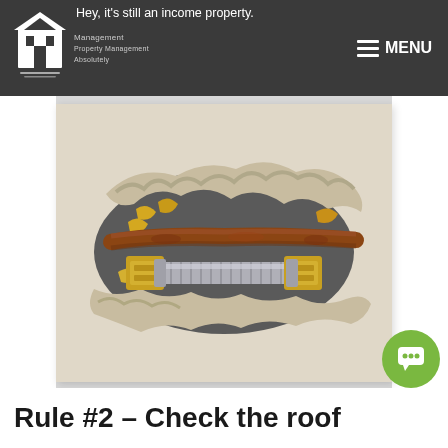Hey, it's still an income property.
[Figure (photo): A hole in a wall revealing plumbing pipes — a corroded copper pipe and a silver flexible connector with brass fittings, surrounded by broken drywall and insulation material.]
Rule #2 – Check the roof